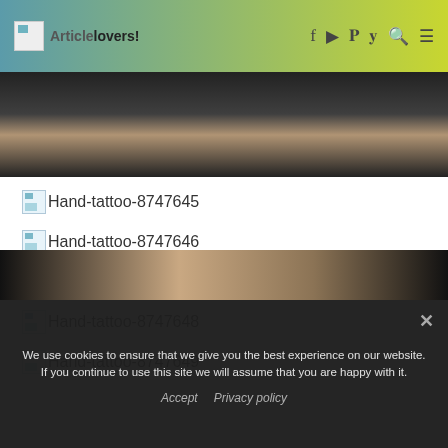Artogleboiers! (Article lovers!)
[Figure (photo): Top cropped photo strip showing person's neck/chin area on dark background]
Hand-tattoo-8747645
Hand-tattoo-8747646
Hand-tattoo-8747647
Hand-tattoo-8747648
Hand-tattoo-8747649
[Figure (photo): Bottom cropped photo strip showing person on dark background]
We use cookies to ensure that we give you the best experience on our website. If you continue to use this site we will assume that you are happy with it.
Accept   Privacy policy